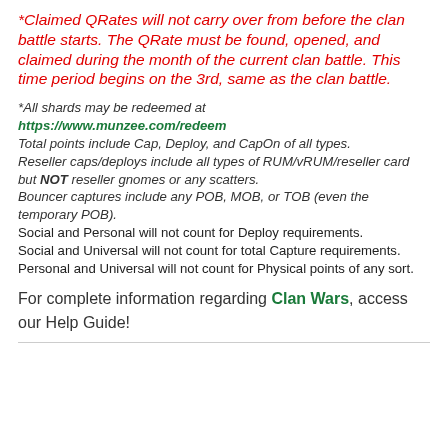*Claimed QRates will not carry over from before the clan battle starts. The QRate must be found, opened, and claimed during the month of the current clan battle. This time period begins on the 3rd, same as the clan battle.
*All shards may be redeemed at https://www.munzee.com/redeem Total points include Cap, Deploy, and CapOn of all types. Reseller caps/deploys include all types of RUM/vRUM/reseller card but NOT reseller gnomes or any scatters. Bouncer captures include any POB, MOB, or TOB (even the temporary POB). Social and Personal will not count for Deploy requirements. Social and Universal will not count for total Capture requirements. Personal and Universal will not count for Physical points of any sort.
For complete information regarding Clan Wars, access our Help Guide!
...